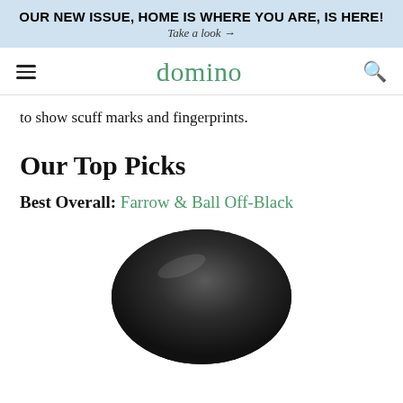OUR NEW ISSUE, HOME IS WHERE YOU ARE, IS HERE!
Take a look →
domino
to show scuff marks and fingerprints.
Our Top Picks
Best Overall: Farrow & Ball Off-Black
[Figure (photo): A dark near-black paint swatch or paint can lid, circular shape with subtle sheen, partially cropped at bottom of page.]